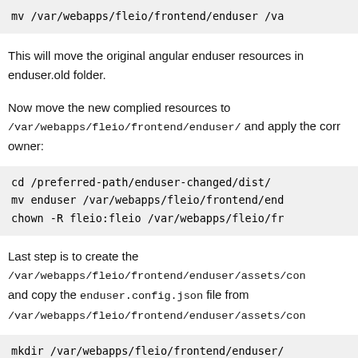mv /var/webapps/fleio/frontend/enduser /va
This will move the original angular enduser resources in enduser.old folder.
Now move the new complied resources to /var/webapps/fleio/frontend/enduser/ and apply the correct owner:
cd /preferred-path/enduser-changed/dist/
mv enduser /var/webapps/fleio/frontend/end
chown -R fleio:fleio /var/webapps/fleio/fr
Last step is to create the /var/webapps/fleio/frontend/enduser/assets/con and copy the enduser.config.json file from /var/webapps/fleio/frontend/enduser/assets/con
mkdir /var/webapps/fleio/frontend/enduser/